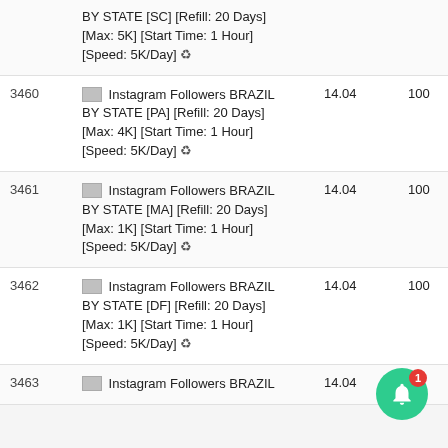| ID | Name | Price | Min |
| --- | --- | --- | --- |
|  | BY STATE [SC] [Refill: 20 Days] [Max: 5K] [Start Time: 1 Hour] [Speed: 5K/Day] ♻ |  |  |
| 3460 | 🏳 Instagram Followers BRAZIL BY STATE [PA] [Refill: 20 Days] [Max: 4K] [Start Time: 1 Hour] [Speed: 5K/Day] ♻ | 14.04 | 100 |
| 3461 | 🏳 Instagram Followers BRAZIL BY STATE [MA] [Refill: 20 Days] [Max: 1K] [Start Time: 1 Hour] [Speed: 5K/Day] ♻ | 14.04 | 100 |
| 3462 | 🏳 Instagram Followers BRAZIL BY STATE [DF] [Refill: 20 Days] [Max: 1K] [Start Time: 1 Hour] [Speed: 5K/Day] ♻ | 14.04 | 100 |
| 3463 | 🏳 Instagram Followers BRAZIL | 14.04 | 50 |